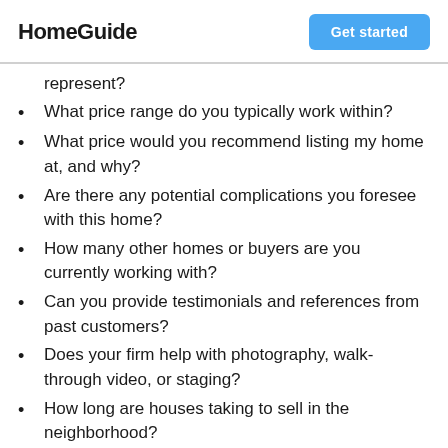HomeGuide | Get started
represent?
What price range do you typically work within?
What price would you recommend listing my home at, and why?
Are there any potential complications you foresee with this home?
How many other homes or buyers are you currently working with?
Can you provide testimonials and references from past customers?
Does your firm help with photography, walk-through video, or staging?
How long are houses taking to sell in the neighborhood?
How much do you charge, and how long do your contracts last?